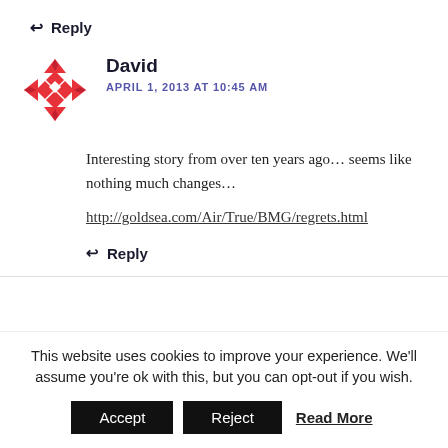↩ Reply
David
APRIL 1, 2013 AT 10:45 AM
Interesting story from over ten years ago… seems like nothing much changes…
http://goldsea.com/Air/True/BMG/regrets.html
↩ Reply
This website uses cookies to improve your experience. We'll assume you're ok with this, but you can opt-out if you wish. Accept Reject Read More